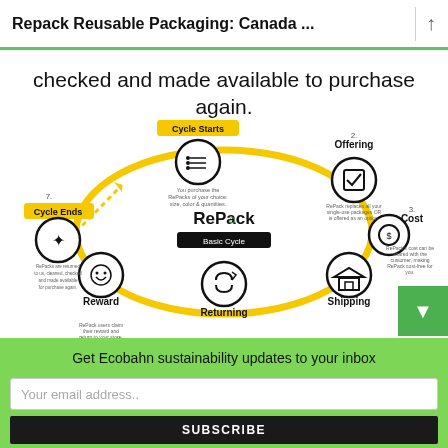Repack Reusable Packaging: Canada ...
checked and made available to purchase again.
[Figure (flowchart): RePack Basic Cycle infographic showing 7 steps in a circular flow: 1. Cycle Starts - You purchase the RePacks of your choice: size, color & quantities. 2. Offering - RePack replaces all your single-use packages OR is offered as an option. 3. Cost - RePack's cost can be shared with the customer, making RePack cost-free for you. 4. Shipping - Purchased products are shipped in RePack by your courier services. 5. Returning - The customer returns the empty RePack to us OR uses it for product returns. 6. Reward - RePack users claim their reward and return to your store. 7. Cycle Ends - RePacks are returned to us, cleaned, checked and made available for purchase again.]
Get Ecobahn sustainability updates to your inbox
Your email address..
SUBSCRIBE